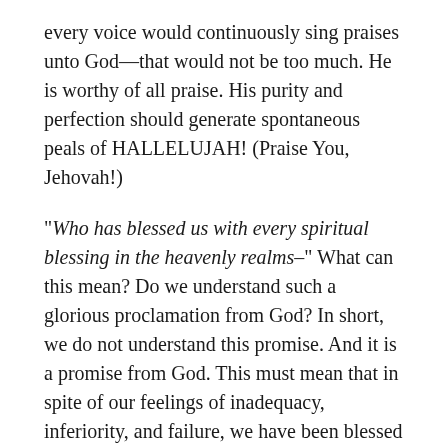every voice would continuously sing praises unto God—that would not be too much. He is worthy of all praise. His purity and perfection should generate spontaneous peals of HALLELUJAH! (Praise You, Jehovah!)
"Who has blessed us with every spiritual blessing in the heavenly realms–" What can this mean? Do we understand such a glorious proclamation from God? In short, we do not understand this promise. And it is a promise from God. This must mean that in spite of our feelings of inadequacy, inferiority, and failure, we have been blessed with spiritual blessings by God. Specifically, every blessing in the heavenly realms. Since this is so mind boggling, we are tempted to set it aside as too hard to understand. Don't do it. God does not lie and He has written in the Bible that we have been blessed with specific heavenly blessings, the greatest...